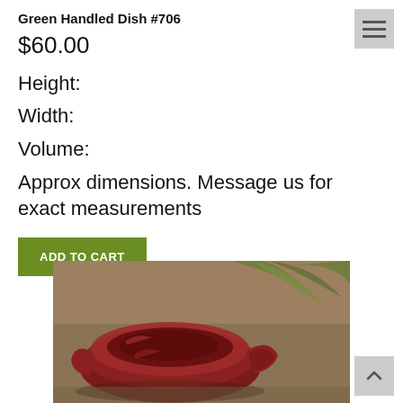Green Handled Dish #706
$60.00
Height:
Width:
Volume:
Approx dimensions.  Message us for exact measurements
ADD TO CART
[Figure (photo): A red/maroon glazed ceramic handled dish (pottery) photographed on a wooden surface with plants in the background.]